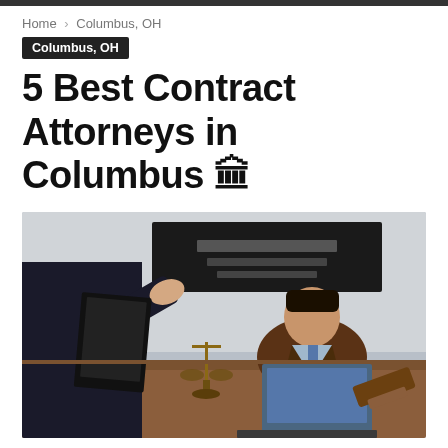Home › Columbus, OH
Columbus, OH
5 Best Contract Attorneys in Columbus 🏛
[Figure (photo): Photo of two attorneys in a law firm office. One attorney stands in the foreground in a dark suit gesturing with their hand, and another attorney sits behind a desk with a laptop and a scales of justice figurine. A dark screen in the background shows text about a law firm with 'Quality and professional service'.]